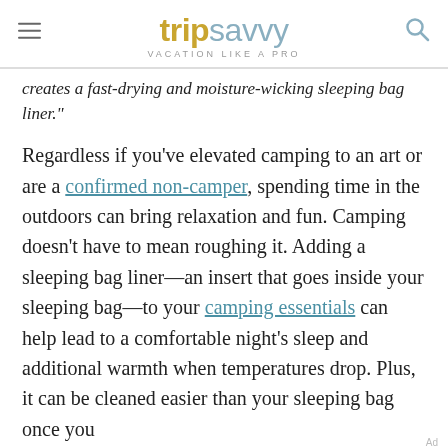tripsavvy VACATION LIKE A PRO
creates a fast-drying and moisture-wicking sleeping bag liner."
Regardless if you’ve elevated camping to an art or are a confirmed non-camper, spending time in the outdoors can bring relaxation and fun. Camping doesn’t have to mean roughing it. Adding a sleeping bag liner—an insert that goes inside your sleeping bag—to your camping essentials can help lead to a comfortable night’s sleep and additional warmth when temperatures drop. Plus, it can be cleaned easier than your sleeping bag once you